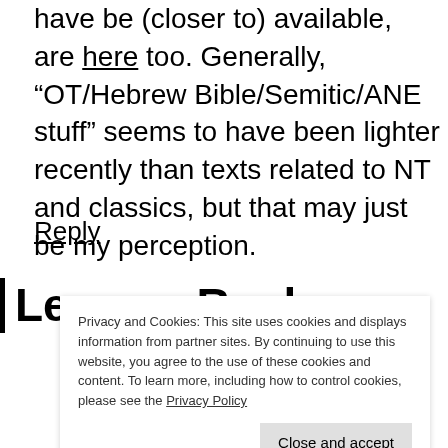have be (closer to) available, are here too. Generally, “OT/Hebrew Bible/Semitic/ANE stuff” seems to have been lighter recently than texts related to NT and classics, but that may just be my perception.
Reply
Leave a Reply
Privacy and Cookies: This site uses cookies and displays information from partner sites. By continuing to use this website, you agree to the use of these cookies and content. To learn more, including how to control cookies, please see the Privacy Policy
Close and accept